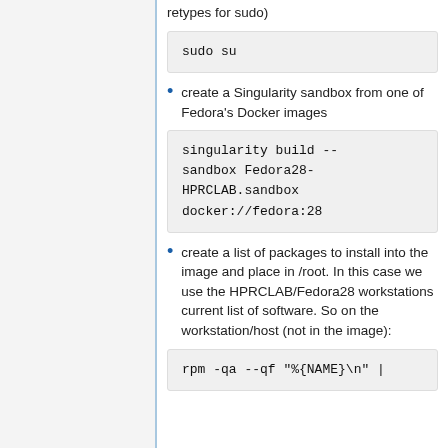retypes for sudo)
[Figure (screenshot): Code block showing: sudo su]
create a Singularity sandbox from one of Fedora's Docker images
[Figure (screenshot): Code block showing: singularity build --sandbox Fedora28-HPRCLAB.sandbox docker://fedora:28]
create a list of packages to install into the image and place in /root. In this case we use the HPRCLAB/Fedora28 workstations current list of software. So on the workstation/host (not in the image):
[Figure (screenshot): Code block showing: rpm -qa --qf "%{NAME}\n" |]